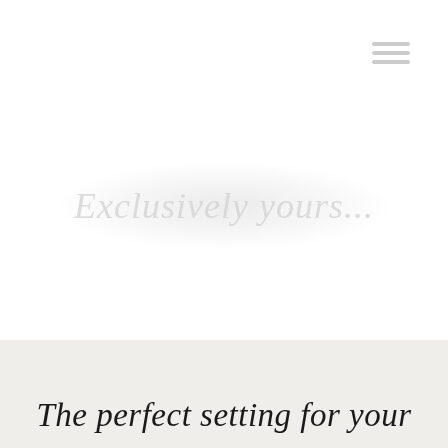[Figure (other): Hamburger menu icon (three horizontal grey lines) in the top-right corner]
Exclusively yours...
The perfect setting for your